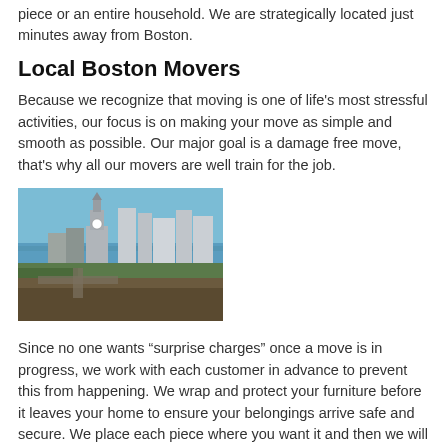piece or an entire household. We are strategically located just minutes away from Boston.
Local Boston Movers
Because we recognize that moving is one of life's most stressful activities, our focus is on making your move as simple and smooth as possible. Our major goal is a damage free move, that's why all our movers are well train for the job.
[Figure (photo): Aerial view of Boston skyline with Custom House Tower and harbor in background]
Since no one wants “surprise charges” once a move is in progress, we work with each customer in advance to prevent this from happening. We wrap and protect your furniture before it leaves your home to ensure your belongings arrive safe and secure. We place each piece where you want it and then we will move it if you change your mind.
Our rates can accommodate your budget for your home, apartment or office move in Boston and New England area!